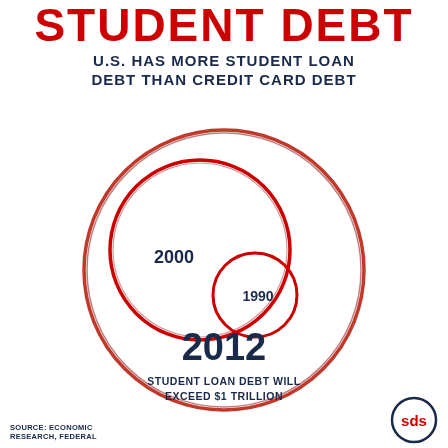STUDENT DEBT
U.S. HAS MORE STUDENT LOAN DEBT THAN CREDIT CARD DEBT
[Figure (infographic): Bubble chart showing student loan debt growth across three years: 1990 (smallest circle), 2000 (medium circle), 2012 (largest circle). Circles are drawn in red/dark red gradient outlines with 2012 being the outermost largest bubble, 2000 a medium bubble inside, and 1990 a small bubble inside the 2000 circle.]
2012
STUDENT LOAN DEBT WILL EXCEED $1 TRILLION
SOURCE: ECONOMIC RESEARCH, FEDERAL